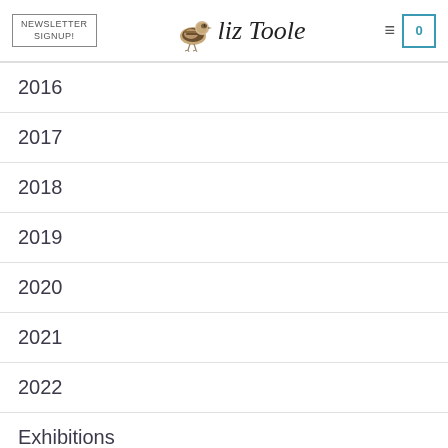NEWSLETTER SIGNUP! | Liz Toole logo | hamburger menu | cart 0
2016
2017
2018
2019
2020
2021
2022
Exhibitions
Galleries
New work